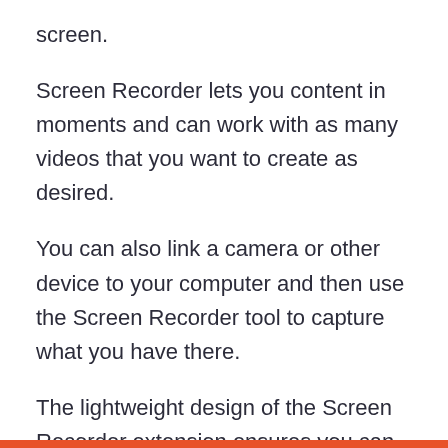screen.
Screen Recorder lets you content in moments and can work with as many videos that you want to create as desired.
You can also link a camera or other device to your computer and then use the Screen Recorder tool to capture what you have there.
The lightweight design of the Screen Recorder extension ensures you can get the content loaded up in moments.
The extension works with a size of a little over 100 KB, thus keeping you from having